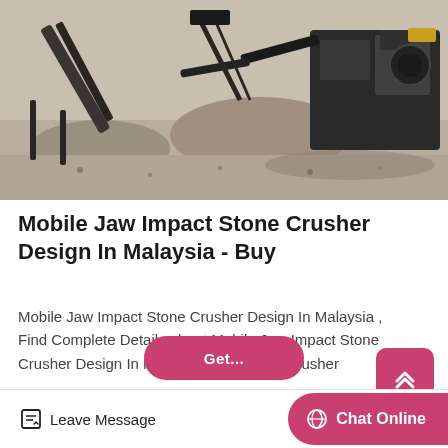[Figure (photo): Industrial stone crusher machinery operating at a quarry site, with conveyor belts, large mechanical equipment, and piles of crushed stone/gravel in a dusty open-air environment. Black and white / desaturated tones.]
Mobile Jaw Impact Stone Crusher Design In Malaysia - Buy
Mobile Jaw Impact Stone Crusher Design In Malaysia , Find Complete Details about Mobile Jaw Impact Stone Crusher Design In Malaysia,Mobile Jaw Crusher
Leave Message
Chat Online